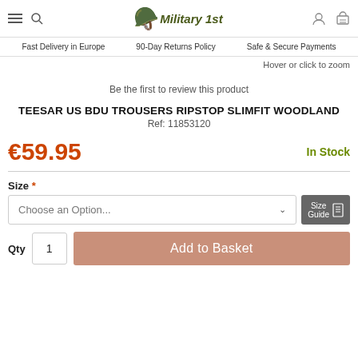Military 1st — navigation header with hamburger menu, search, logo, account and basket icons
Fast Delivery in Europe | 90-Day Returns Policy | Safe & Secure Payments
Hover or click to zoom
Be the first to review this product
TEESAR US BDU TROUSERS RIPSTOP SLIMFIT WOODLAND
Ref: 11853120
€59.95
In Stock
Size *
Choose an Option...
Size Guide
Qty  1  Add to Basket